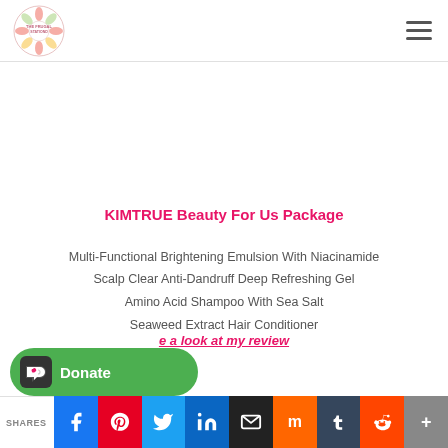The Frugal Stationerd - blog logo and navigation
KIMTRUE Beauty For Us Package
Multi-Functional Brightening Emulsion With Niacinamide
Scalp Clear Anti-Dandruff Deep Refreshing Gel
Amino Acid Shampoo With Sea Salt
Seaweed Extract Hair Conditioner
…e a look at my review
SHARES | Social share buttons: Facebook, Pinterest, Twitter, LinkedIn, Email, Mix, Tumblr, Reddit, More | Donate button